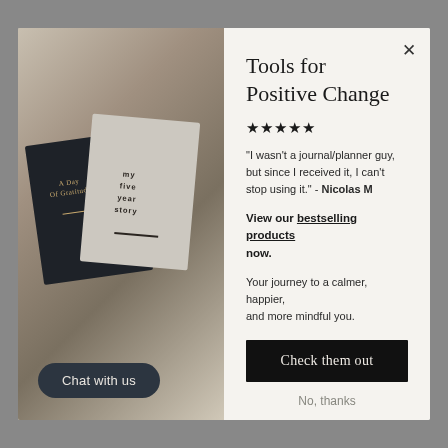[Figure (photo): Two journals on a bed with white linen: a dark navy/black hardcover journal labeled 'A Day Of Gratitude' with gold text, and a light gray textured hardcover journal with embossed text 'my five year story'. Photo is the left half of a modal popup.]
Tools for Positive Change
★★★★★
"I wasn't a journal/planner guy, but since I received it, I can't stop using it." - Nicolas M
View our bestselling products now.
Your journey to a calmer, happier, and more mindful you.
Check them out
No, thanks
Chat with us